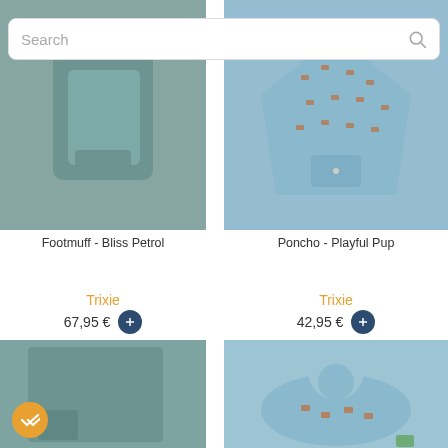[Figure (screenshot): Search bar UI element at the top]
[Figure (photo): Footmuff product image - Bliss Petrol, teal/petrol fabric folded]
[Figure (photo): Poncho product image - Playful Pup, light blue with dog pattern]
Footmuff - Bliss Petrol
Poncho - Playful Pup
Trixie
67,95 €
Trixie
42,95 €
[Figure (photo): Blanket/swaddle product image - teal muslin fabric with checkmark badge]
[Figure (photo): Bib product image - Playful Pup, light blue with orange dog pattern]